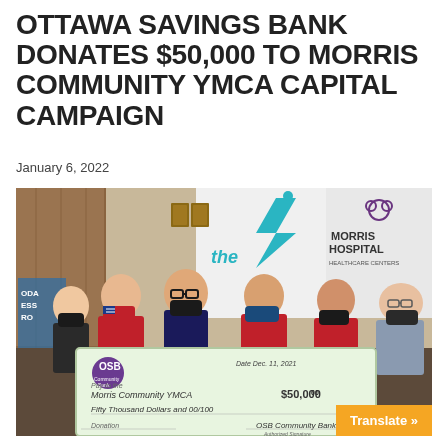OTTAWA SAVINGS BANK DONATES $50,000 TO MORRIS COMMUNITY YMCA CAPITAL CAMPAIGN
January 6, 2022
[Figure (photo): Group photo of Ottawa Savings Bank representatives presenting a large ceremonial check for $50,000 to Morris Community YMCA. Six people wearing masks hold the check. In background: the YMCA logo and Morris Hospital Healthcare Centers banner. The check is from OSB Community Bank dated Dec. 11, 2021, made out to Morris Community YMCA for Fifty Thousand Dollars and 00/100, memo: Donation.]